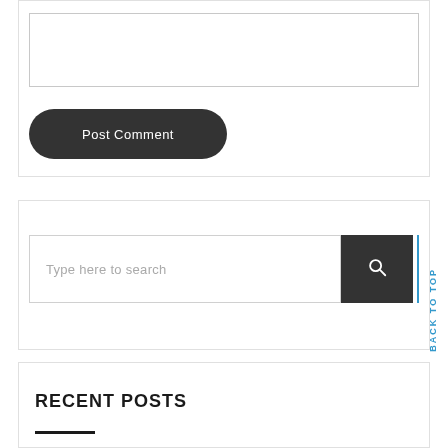[Figure (screenshot): Web form section showing a textarea input box at the top]
Post Comment
[Figure (screenshot): Search bar with placeholder text 'Type here to search', a dark search button with magnifying glass icon, a blue vertical line, and a 'BACK TO TOP' vertical label in blue]
RECENT POSTS